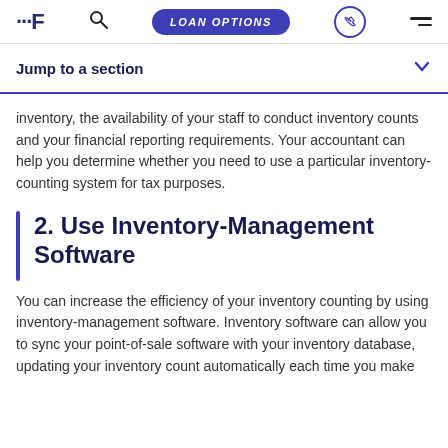LOAN OPTIONS
Jump to a section
inventory, the availability of your staff to conduct inventory counts and your financial reporting requirements. Your accountant can help you determine whether you need to use a particular inventory-counting system for tax purposes.
2. Use Inventory-Management Software
You can increase the efficiency of your inventory counting by using inventory-management software. Inventory software can allow you to sync your point-of-sale software with your inventory database, updating your inventory count automatically each time you make